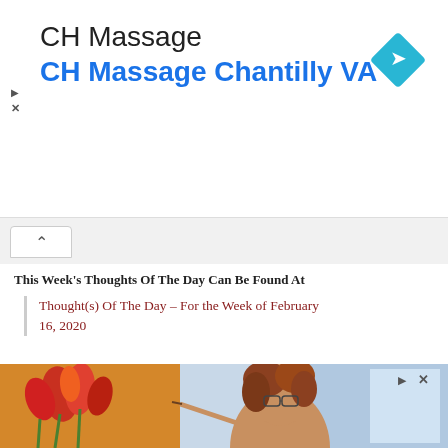CH Massage
CH Massage Chantilly VA
This Week's Thoughts Of The Day Can Be Found At
Thought(s) Of The Day – For the Week of February 16, 2020
This Week's Quotes Of The Day Can Be Found At
Quote(s) Of The Day – For the week of February 16, 2020
[Figure (photo): Bottom advertisement photo showing a person painting tulips on canvas]